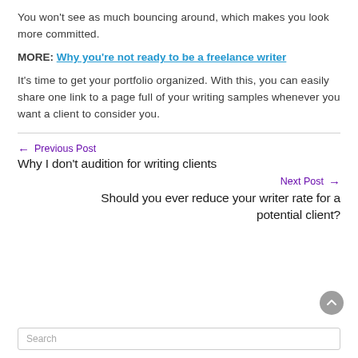You won't see as much bouncing around, which makes you look more committed.
MORE: Why you're not ready to be a freelance writer
It's time to get your portfolio organized. With this, you can easily share one link to a page full of your writing samples whenever you want a client to consider you.
← Previous Post
Why I don't audition for writing clients
Next Post →
Should you ever reduce your writer rate for a potential client?